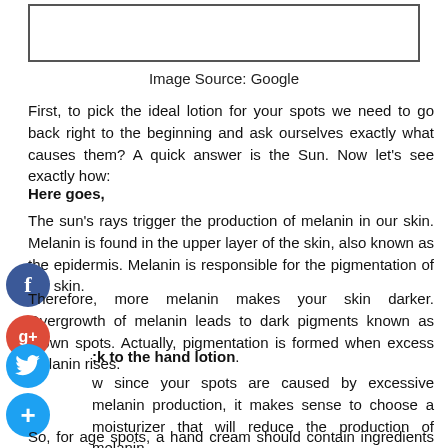[Figure (other): Empty white image box with border]
Image Source: Google
First, to pick the ideal lotion for your spots we need to go back right to the beginning and ask ourselves exactly what causes them? A quick answer is the Sun. Now let's see exactly how:
Here goes,
The sun's rays trigger the production of melanin in our skin. Melanin is found in the upper layer of the skin, also known as the epidermis. Melanin is responsible for the pigmentation of our skin.
Therefore, more melanin makes your skin darker. Overgrowth of melanin leads to dark pigments known as brown spots. Actually, pigmentation is formed when excess melanin rises.
Back to the hand lotion.
Now since your spots are caused by excessive melanin production, it makes sense to choose a moisturizer that will reduce the production of melanin.
So, for age spots, a hand cream should contain ingredients that inhibit